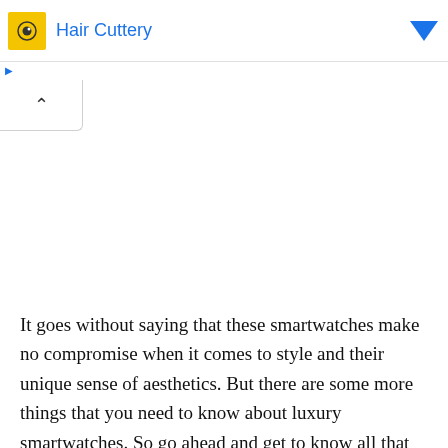[Figure (other): Advertisement banner for Hair Cuttery with yellow logo, brand name in blue, and a blue dropdown arrow on the right]
[Figure (other): Collapse/minimize button with upward chevron (^) below the ad bar]
It goes without saying that these smartwatches make no compromise when it comes to style and their unique sense of aesthetics. But there are some more things that you need to know about luxury smartwatches. So go ahead and get to know all that you’ve been missing out on!